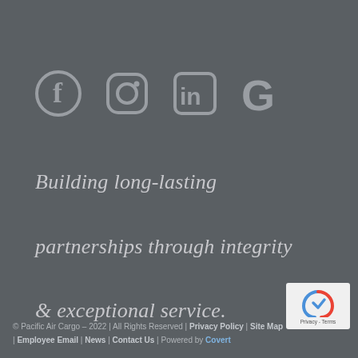[Figure (logo): Social media icons: Facebook, Instagram, LinkedIn, Google — rendered as light gray SVG icons on dark gray background]
Building long-lasting partnerships through integrity & exceptional service.
[Figure (logo): reCAPTCHA badge in bottom right corner showing recaptcha logo, Privacy - Terms text]
© Pacific Air Cargo – 2022 | All Rights Reserved | Privacy Policy | Site Map | Employee Email | News | Contact Us | Powered by Covert